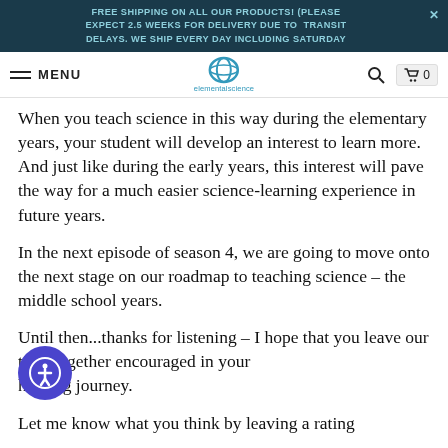FREE SHIPPING ON ALL OUR PRODUCTS! (PLEASE EXPECT 2.5 WEEKS FOR DELIVERY DUE TO TRANSIT DELAYS. WE SHIP EVERY DAY INCLUDING SATURDAY
MENU — elementalscience logo — search icon — cart 0
When you teach science in this way during the elementary years, your student will develop an interest to learn more. And just like during the early years, this interest will pave the way for a much easier science-learning experience in future years.
In the next episode of season 4, we are going to move onto the next stage on our roadmap to teaching science – the middle school years.
Until then...thanks for listening – I hope that you leave our time together encouraged in your homeschooling journey.
Let me know what you think by leaving a rating